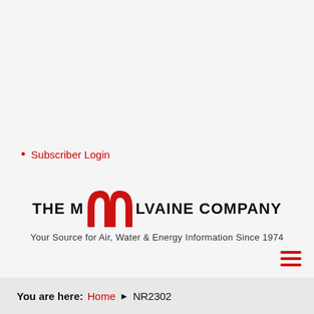Subscriber Login
[Figure (logo): The McIlvaine Company logo with red M arch graphic and bold text]
Your Source for Air, Water & Energy Information Since 1974
You are here: Home ▶ NR2302